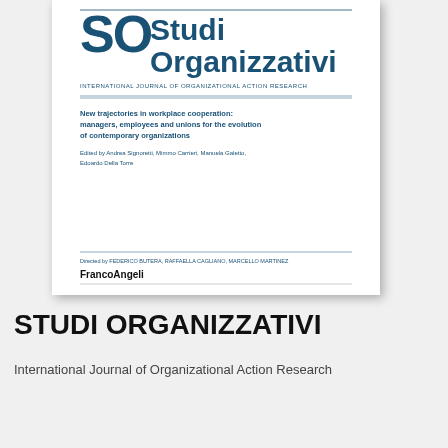[Figure (illustration): Book/journal cover of Studi Organizzativi – International Journal of Organizational Action Research, showing the SO logo, journal title in large blue bold text, subtitle in small caps, a book title 'New trajectories in workplace cooperation: managers, employees and unions for the evolution of contemporary organizations', editors list, directed by line, and FrancoAngeli publisher imprint.]
STUDI ORGANIZZATIVI
International Journal of Organizational Action Research